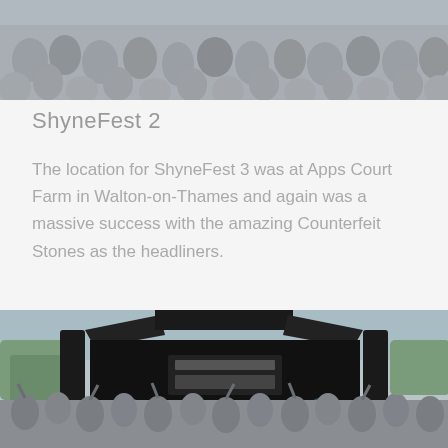[Figure (photo): Crowd photo from ShyneFest event, people sitting on grass, muted/faded tones, cropped at top of page]
ShyneFest 2
The location for ShyneFest 3 was at Apps Court Farm in Walton-on-Thames and again was a massive success with the amazing Counterfeit Stones as the headliners.
[Figure (photo): Festival crowd standing in front of a large arch-shaped stage with 'Jamstage Hire' sign, people cheering with hands raised, outdoor festival setting with trees in background. A music/audio play icon overlay appears at the top center of the image.]